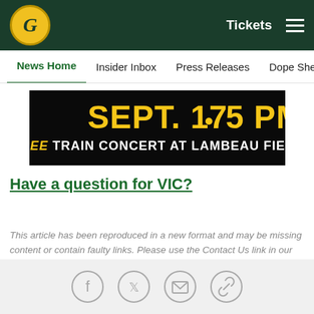Green Bay Packers navigation bar with logo, Tickets link, and hamburger menu
News Home | Insider Inbox | Press Releases | Dope Sheet | Game...
[Figure (other): Black banner advertisement: SEPT. 17 • 5 PM — FREE TRAIN CONCERT AT LAMBEAU FIELD]
Have a question for VIC?
This article has been reproduced in a new format and may be missing content or contain faulty links. Please use the Contact Us link in our site footer to report an issue.
Social share icons: Facebook, Twitter, Email, Link